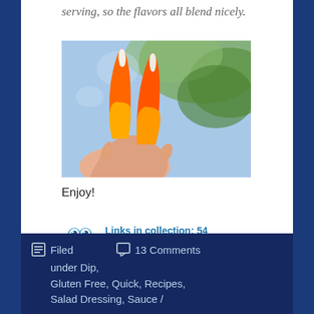serving, so the flavors all blend nicely.
[Figure (photo): A hand holding two candy corn pieces against a blurred outdoor background with blue sky and green foliage.]
Enjoy!
Links in collection: 54
Click to view/add link
Filed
13 Comments
under Dip, Gluten Free, Quick, Recipes, Salad Dressing, Sauce /